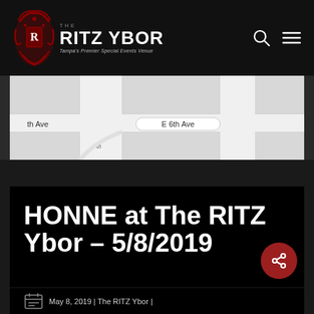[Figure (logo): The Ritz Ybor logo with red ornamental crest and text 'THE RITZ YBOR - Tampa's Premier Special Events Venue']
[Figure (map): Partial street map showing E 6th Ave and surrounding streets]
HONNE at The RITZ Ybor – 5/8/2019
May 8, 2019 | The RITZ Ybor |